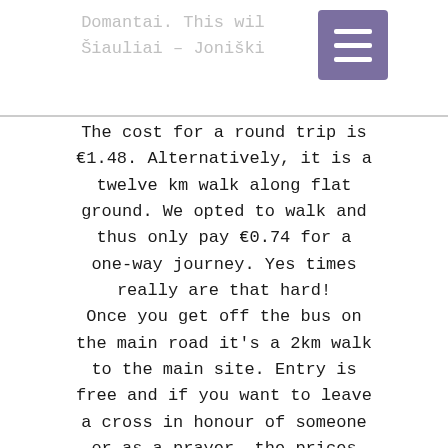Domantai. This will the Šiauliai – Joniškis ce.
The cost for a round trip is €1.48. Alternatively, it is a twelve km walk along flat ground. We opted to walk and thus only pay €0.74 for a one-way journey. Yes times really are that hard! Once you get off the bus on the main road it's a 2km walk to the main site. Entry is free and if you want to leave a cross in honour of someone or as a prayer, the prices start from €1. There is nowhere to eat lunch other than a vending machine selling over priced crisps